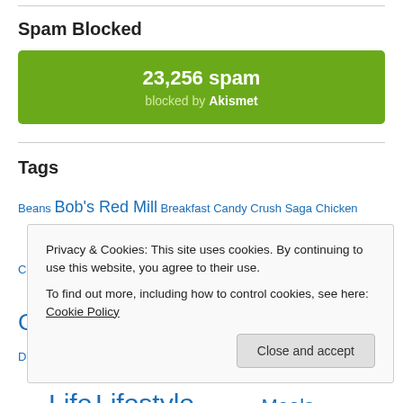Spam Blocked
[Figure (infographic): Green rounded box displaying '23,256 spam blocked by Akismet']
Tags
Beans Bob's Red Mill Breakfast Candy Crush Saga Chicken Clean Eating Cookies Cooking Cornbread Culture Current Events Dairy Free Yogurt Dave's Killer Bread Dinner Diversity Dogs Dole Brand Eating
Privacy & Cookies: This site uses cookies. By continuing to use this website, you agree to their use. To find out more, including how to control cookies, see here: Cookie Policy
Juice Life Lifestyle Lunch Meal Meals Money Natural